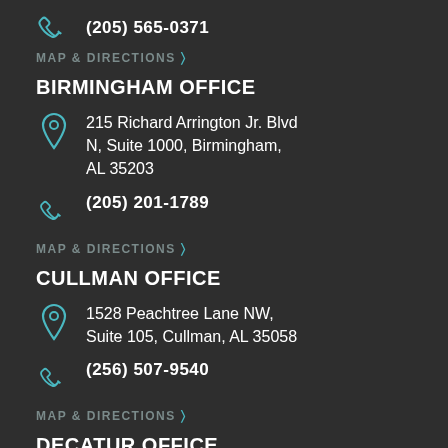(205) 565-0371
MAP & DIRECTIONS >
BIRMINGHAM OFFICE
215 Richard Arrington Jr. Blvd N, Suite 1000, Birmingham, AL 35203
(205) 201-1789
MAP & DIRECTIONS >
CULLMAN OFFICE
1528 Peachtree Lane NW, Suite 105, Cullman, AL 35058
(256) 507-9540
MAP & DIRECTIONS >
DECATUR OFFICE